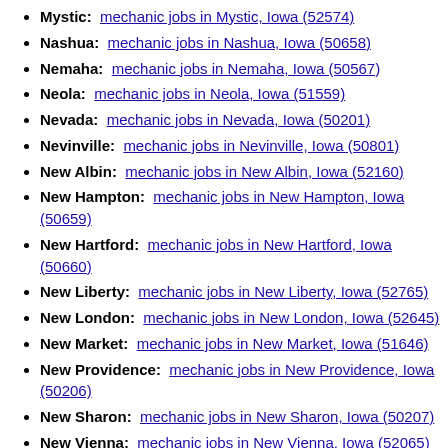Mystic: mechanic jobs in Mystic, Iowa (52574)
Nashua: mechanic jobs in Nashua, Iowa (50658)
Nemaha: mechanic jobs in Nemaha, Iowa (50567)
Neola: mechanic jobs in Neola, Iowa (51559)
Nevada: mechanic jobs in Nevada, Iowa (50201)
Nevinville: mechanic jobs in Nevinville, Iowa (50801)
New Albin: mechanic jobs in New Albin, Iowa (52160)
New Hampton: mechanic jobs in New Hampton, Iowa (50659)
New Hartford: mechanic jobs in New Hartford, Iowa (50660)
New Liberty: mechanic jobs in New Liberty, Iowa (52765)
New London: mechanic jobs in New London, Iowa (52645)
New Market: mechanic jobs in New Market, Iowa (51646)
New Providence: mechanic jobs in New Providence, Iowa (50206)
New Sharon: mechanic jobs in New Sharon, Iowa (50207)
New Vienna: mechanic jobs in New Vienna, Iowa (52065)
New Virginia: mechanic jobs in New Virginia, Iowa (50210)
Newell: mechanic jobs in Newell, Iowa (50568)
Newhall: mechanic jobs in Newhall, Iowa (52315)
Newton: mechanic jobs in Newton, Iowa (50208)
Nichols: mechanic jobs in Nichols, Iowa (52766)
Nodaway: mechanic jobs in Nodaway, Iowa (50857)
Nora Springs: mechanic jobs in Nora Springs, Iowa (50458)
North Buena Vist: mechanic jobs in North Buena Vist, Iowa (52066)
North English: mechanic jobs in North English, Iowa (52316)
North Liberty: mechanic jobs in North Liberty, Iowa (52317)